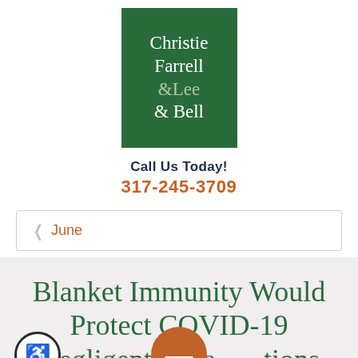[Figure (logo): Christie Farrell Lee & Bell law firm logo — dark green square with white serif text]
Call Us Today!
317-245-3709
< June
Blanket Immunity Would Protect COVID-19 Negligent Organizations